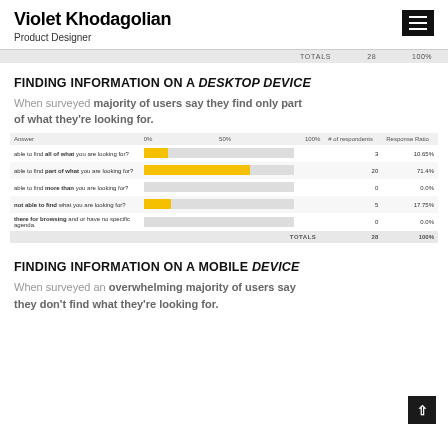Violet Khodagolian
Product Designer
|  |  |  | TOTALS | 28 | 100% |
| --- | --- | --- | --- | --- | --- |
FINDING INFORMATION ON A DESKTOP DEVICE
When surveyed majority of users say they find only part of what they're looking for.
[Figure (bar-chart): Finding information on a desktop device]
FINDING INFORMATION ON A MOBILE DEVICE
When surveyed an overwhelming majority of users say they don't find what they're looking for.